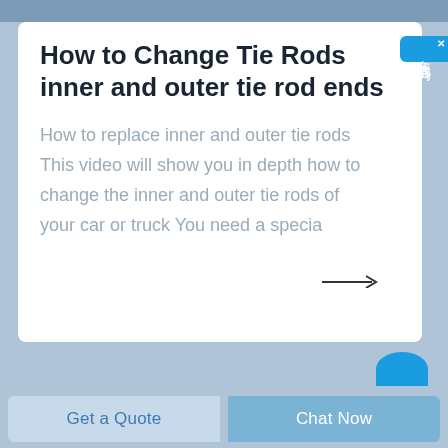How to Change Tie Rods inner and outer tie rod ends
How to replace inner and outer tie rods This video will show you in depth how to change the inner and outer tie rods of your car or truck You need a specia
[Figure (other): Chinese chat widget button on right side with text 在线咨询 (online consultation)]
Get a Quote
Chat Now